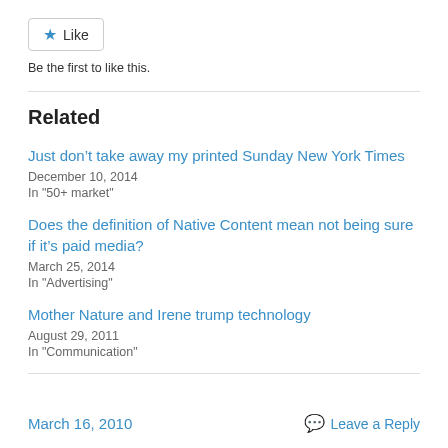[Figure (other): Like button with blue star icon and text 'Like']
Be the first to like this.
Related
Just don’t take away my printed Sunday New York Times
December 10, 2014
In "50+ market"
Does the definition of Native Content mean not being sure if it’s paid media?
March 25, 2014
In "Advertising"
Mother Nature and Irene trump technology
August 29, 2011
In "Communication"
March 16, 2010
Leave a Reply